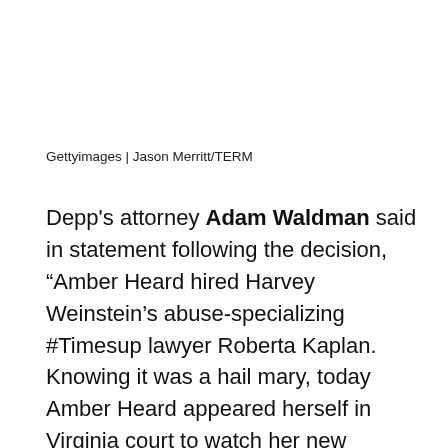Gettyimages | Jason Merritt/TERM
Depp's attorney Adam Waldman said in statement following the decision, “Amber Heard hired Harvey Weinstein’s abuse-specializing #Timesup lawyer Roberta Kaplan. Knowing it was a hail mary, today Amber Heard appeared herself in Virginia court to watch her new lawyer’s lose her attempt to hide all the evidence of Heard’s abuse hoax from the public. Chief Judge White rejected Kaplan’s arguments, and ruled that only medical records, personal information like social security numbers, and Ms. Heard’s personal diary (which oddly was not turned over during divorce discovery 3 years